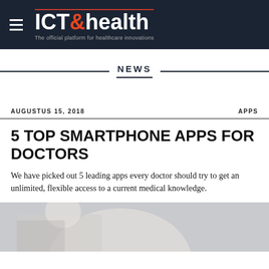ICT & health — The official platform for healthcare innovations
NEWS
AUGUSTUS 15, 2018   APPS
5 TOP SMARTPHONE APPS FOR DOCTORS
We have picked out 5 leading apps every doctor should try to get an unlimited, flexible access to a current medical knowledge.
[Figure (photo): Photo of a person in a white coat, likely a doctor, viewed from behind or side, blurred/partial view at bottom of page.]